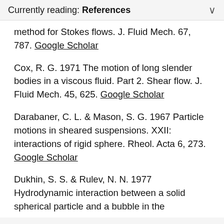Currently reading: References
method for Stokes flows. J. Fluid Mech. 67, 787. Google Scholar
Cox, R. G. 1971 The motion of long slender bodies in a viscous fluid. Part 2. Shear flow. J. Fluid Mech. 45, 625. Google Scholar
Darabaner, C. L. & Mason, S. G. 1967 Particle motions in sheared suspensions. XXII: interactions of rigid sphere. Rheol. Acta 6, 273. Google Scholar
Dukhin, S. S. & Rulev, N. N. 1977 Hydrodynamic interaction between a solid spherical particle and a bubble in the close-to-contact of flotation. Colloid